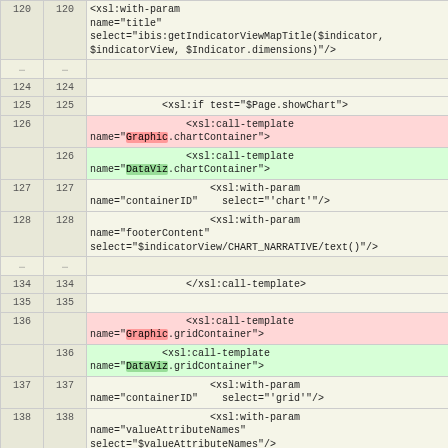|  |  | code |
| --- | --- | --- |
| 120 | 120 | <xsl:with-param name="title" select="ibis:getIndicatorViewMapTitle($indicator, $indicatorView, $Indicator.dimensions)"/> |
| ... | ... |  |
| 124 | 124 |  |
| 125 | 125 | <xsl:if test="$Page.showChart"> |
| 126 |  | <xsl:call-template name="Graphic.chartContainer"> |
|  | 126 | <xsl:call-template name="DataViz.chartContainer"> |
| 127 | 127 | <xsl:with-param name="containerID" select="'chart'"/> |
| 128 | 128 | <xsl:with-param name="footerContent" select="$indicatorView/CHART_NARRATIVE/text()"/> |
| ... | ... |  |
| 134 | 134 | </xsl:call-template> |
| 135 | 135 |  |
| 136 |  | <xsl:call-template name="Graphic.gridContainer"> |
|  | 136 | <xsl:call-template name="DataViz.gridContainer"> |
| 137 | 137 | <xsl:with-param name="containerID" select="'grid'"/> |
| 138 | 138 | <xsl:with-param name="valueAttributeNames" select="$valueAttributeNames"/> |
| ... | ... |  |
| 159 | 159 | <xsl:variable name="ancillaryValueNames" select="distinct-values($indicator/DATASETS/DATASET[NAME = $indicatorView/DATASET_NAMES/DATASET_NAME]/ANCILLAR |
| 160 | 160 | <xsl:variable |